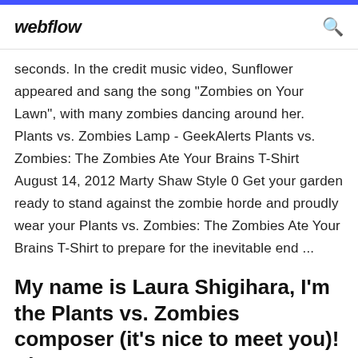webflow
seconds. In the credit music video, Sunflower appeared and sang the song "Zombies on Your Lawn", with many zombies dancing around her. Plants vs. Zombies Lamp - GeekAlerts Plants vs. Zombies: The Zombies Ate Your Brains T-Shirt August 14, 2012 Marty Shaw Style 0 Get your garden ready to stand against the zombie horde and proudly wear your Plants vs. Zombies: The Zombies Ate Your Brains T-Shirt to prepare for the inevitable end ...
My name is Laura Shigihara, I'm the Plants vs. Zombies composer (it's nice to meet you)! Since